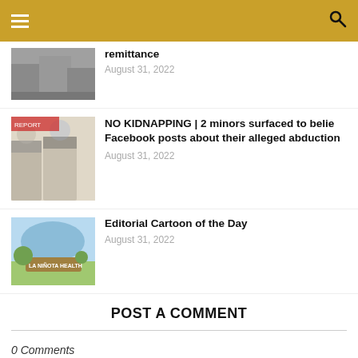Navigation header with menu and search
remittance
August 31, 2022
NO KIDNAPPING | 2 minors surfaced to belie Facebook posts about their alleged abduction
August 31, 2022
Editorial Cartoon of the Day
August 31, 2022
POST A COMMENT
0 Comments
To leave a comment, click the button below to sign in with Google.
SIGN IN WITH GOOGLE